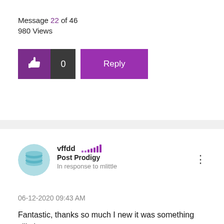Message 22 of 46
980 Views
[Figure (screenshot): Like button with thumbs up icon (purple background) and count 0 (dark background), plus Reply button (purple)]
vffdd  Post Prodigy  In response to mlittle
06-12-2020 09:43 AM
Fantastic, thanks so much I new it was something silly I